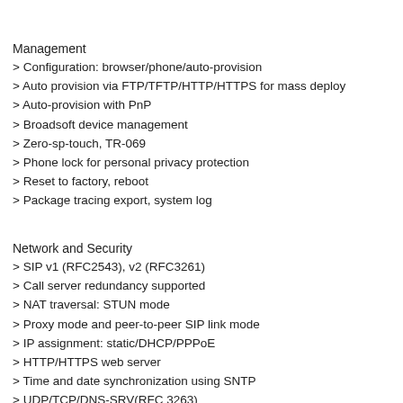Management
> Configuration: browser/phone/auto-provision
> Auto provision via FTP/TFTP/HTTP/HTTPS for mass deploy
> Auto-provision with PnP
> Broadsoft device management
> Zero-sp-touch, TR-069
> Phone lock for personal privacy protection
> Reset to factory, reboot
> Package tracing export, system log
Network and Security
> SIP v1 (RFC2543), v2 (RFC3261)
> Call server redundancy supported
> NAT traversal: STUN mode
> Proxy mode and peer-to-peer SIP link mode
> IP assignment: static/DHCP/PPPoE
> HTTP/HTTPS web server
> Time and date synchronization using SNTP
> UDP/TCP/DNS-SRV(RFC 3263)
> 802.1x (Category/VLAN) for Layer 2 DSCP